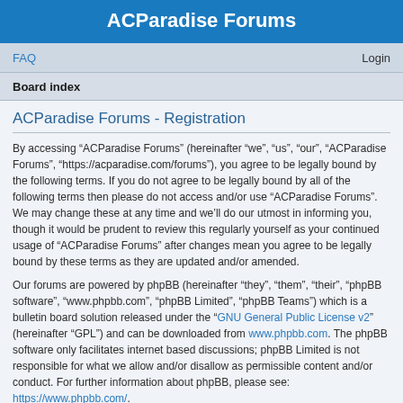ACParadise Forums
FAQ   Login
Board index
ACParadise Forums - Registration
By accessing “ACParadise Forums” (hereinafter “we”, “us”, “our”, “ACParadise Forums”, “https://acparadise.com/forums”), you agree to be legally bound by the following terms. If you do not agree to be legally bound by all of the following terms then please do not access and/or use “ACParadise Forums”. We may change these at any time and we’ll do our utmost in informing you, though it would be prudent to review this regularly yourself as your continued usage of “ACParadise Forums” after changes mean you agree to be legally bound by these terms as they are updated and/or amended.
Our forums are powered by phpBB (hereinafter “they”, “them”, “their”, “phpBB software”, “www.phpbb.com”, “phpBB Limited”, “phpBB Teams”) which is a bulletin board solution released under the “GNU General Public License v2” (hereinafter “GPL”) and can be downloaded from www.phpbb.com. The phpBB software only facilitates internet based discussions; phpBB Limited is not responsible for what we allow and/or disallow as permissible content and/or conduct. For further information about phpBB, please see: https://www.phpbb.com/.